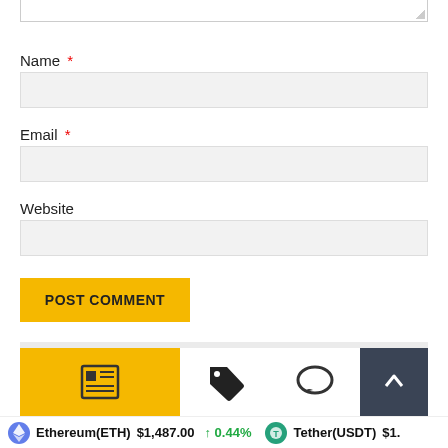Name *
Email *
Website
POST COMMENT
SEARCH ...
Ethereum(ETH) $1,487.00 ↑ 0.44% Tether(USDT) $1.